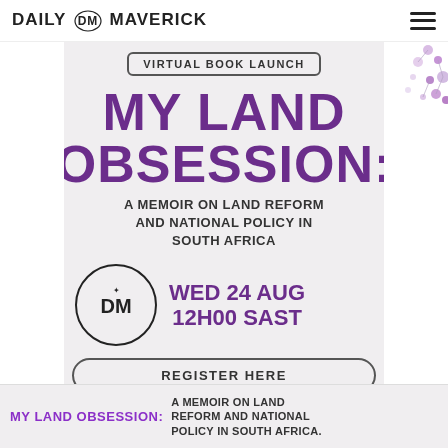DAILY MAVERICK
[Figure (infographic): Virtual Book Launch promotional poster for 'My Land Obsession: A Memoir on Land Reform and National Policy in South Africa'. Event: Wed 24 Aug 12H00 SAST. Includes Daily Maverick logo and floral decoration. Register Here button.]
[Figure (infographic): Bottom banner: MY LAND OBSESSION: A MEMOIR ON LAND REFORM AND NATIONAL POLICY IN SOUTH AFRICA.]